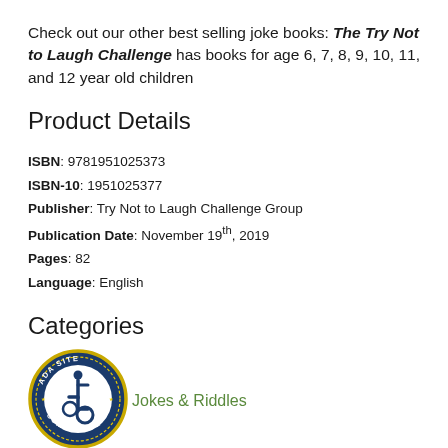Check out our other best selling joke books: The Try Not to Laugh Challenge has books for age 6, 7, 8, 9, 10, 11, and 12 year old children
Product Details
ISBN: 9781951025373
ISBN-10: 1951025377
Publisher: Try Not to Laugh Challenge Group
Publication Date: November 19th, 2019
Pages: 82
Language: English
Categories
[Figure (logo): ADA Site Compliance badge — circular navy blue badge with gold rope border, wheelchair accessibility icon in center, text reading ADA SITE COMPLIANCE around the edge]
Jokes & Riddles
Deleted Editions (all)